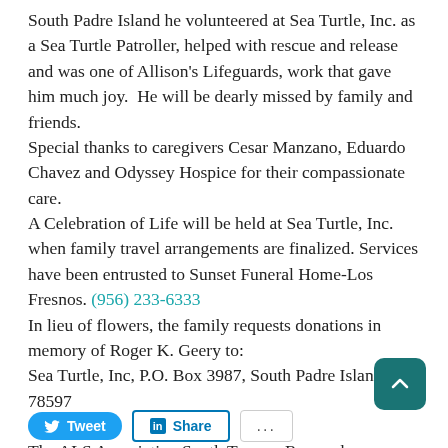South Padre Island he volunteered at Sea Turtle, Inc. as a Sea Turtle Patroller, helped with rescue and release and was one of Allison's Lifeguards, work that gave him much joy.  He will be dearly missed by family and friends.
Special thanks to caregivers Cesar Manzano, Eduardo Chavez and Odyssey Hospice for their compassionate care.
A Celebration of Life will be held at Sea Turtle, Inc. when family travel arrangements are finalized. Services have been entrusted to Sunset Funeral Home-Los Fresnos. (956) 233-6333
In lieu of flowers, the family requests donations in memory of Roger K. Geery to:
Sea Turtle, Inc, P.O. Box 3987, South Padre Island, TX 78597
Or
The ALS Association South Texas – Research
8600 Wurzbach Suite 700
San Antonio, TX 78240